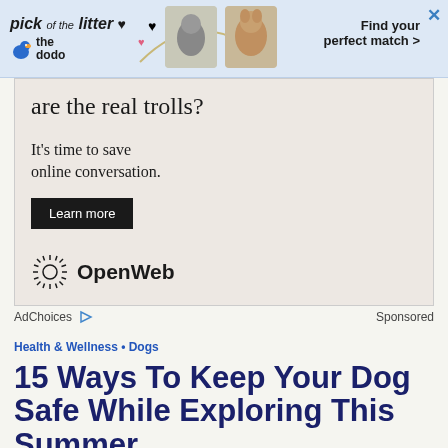[Figure (screenshot): Advertisement banner at top: 'pick of the litter' with The Dodo logo, pet images, and 'Find your perfect match >' text with close X button]
[Figure (screenshot): Main advertisement box with text 'are the real trolls?', 'It's time to save online conversation.', 'Learn more' button, and OpenWeb logo]
AdChoices   Sponsored
Health & Wellness • Dogs
15 Ways To Keep Your Dog Safe While Exploring This Summer
Whether you're hitting the trails, the beach or the road,